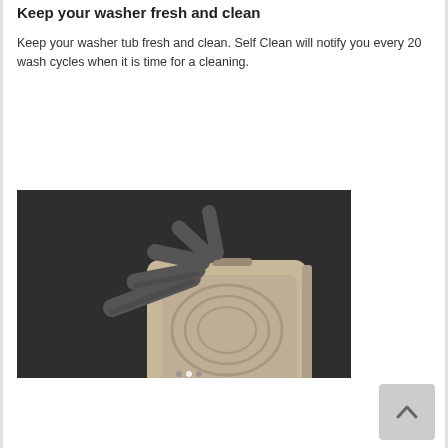Keep your washer fresh and clean
Keep your washer tub fresh and clean. Self Clean will notify you every 20 wash cycles when it is time for a cleaning.
[Figure (photo): Close-up photo of a front-loading washing machine door open against a dark background, showing the drum agitator fins fanned out.]
[Figure (other): Back to top button with upward chevron arrow]